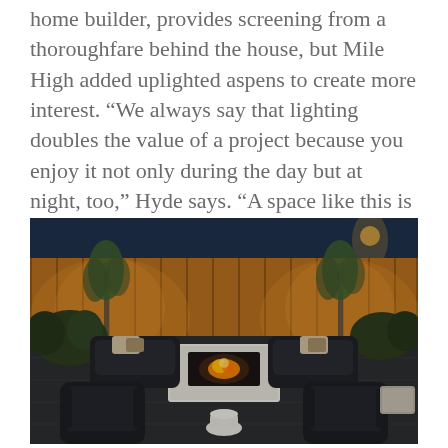home builder, provides screening from a thoroughfare behind the house, but Mile High added uplighted aspens to create more interest. “We always say that lighting doubles the value of a project because you enjoy it not only during the day but at night, too,” Hyde says. “A space like this is gorgeous in the winter, as well, when you’re inside and the snow is falling.”
[Figure (photo): Outdoor patio at night with modern dark lounge chairs arranged around a white rectangular fire pit table with an open flame. Uplighted aspen trees and wooden fence in the background, a small white ceramic garden stool in the foreground.]